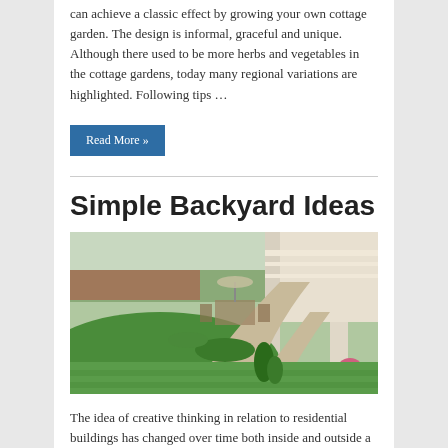can achieve a classic effect by growing your own cottage garden. The design is informal, graceful and unique. Although there used to be more herbs and vegetables in the cottage gardens, today many regional variations are highlighted. Following tips …
Read More »
Simple Backyard Ideas
[Figure (photo): A well-landscaped backyard with green lawn, paved walkway, garden beds with plants, patio furniture, and a pergola attached to a white building.]
The idea of creative thinking in relation to residential buildings has changed over time both inside and outside a house. Homeowners will try out some innovative decorating ideas to make their home